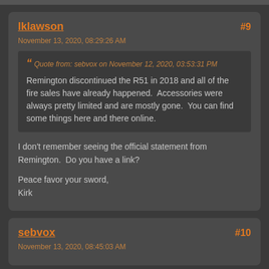lklawson
November 13, 2020, 08:29:26 AM
#9
Quote from: sebvox on November 12, 2020, 03:53:31 PM
Remington discontinued the R51 in 2018 and all of the fire sales have already happened.  Accessories were always pretty limited and are mostly gone.  You can find some things here and there online.
I don't remember seeing the official statement from Remington.  Do you have a link?

Peace favor your sword,
Kirk
sebvox
November 13, 2020, 08:45:03 AM
#10